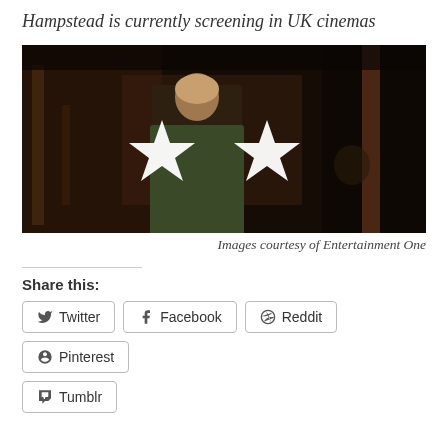Hampstead is currently screening in UK cinemas
[Figure (photo): Dark film still showing a bearded man in a green jacket standing in a dimly lit interior space, with two white star rating symbols overlaid on the image]
Images courtesy of Entertainment One
Share this:
Twitter
Facebook
Reddit
Pinterest
Tumblr